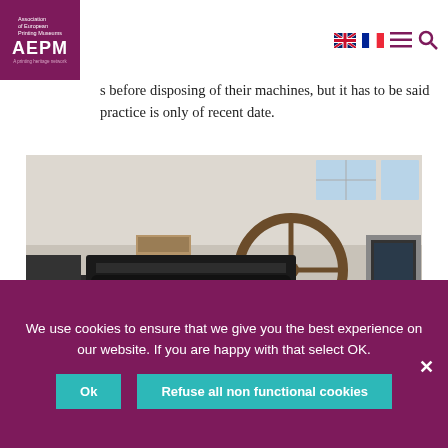Association of European Printing Museums AEPM A printing heritage network
s before disposing of their machines, but it has to be said practice is only of recent date.
[Figure (photo): Interior of a printing museum or storage facility showing various old printing machines including a large black letterpress machine in the center, a large flywheel, and other industrial printing equipment scattered around a warehouse-like space.]
We use cookies to ensure that we give you the best experience on our website. If you are happy with that select OK.